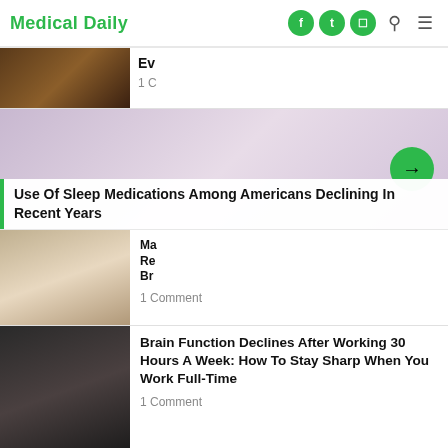Medical Daily
[Figure (photo): Henna-tattooed hands photo (partially visible)]
Ev...
1 C...
[Figure (photo): Woman in open shirt (partially visible)]
[Figure (photo): Sleeping woman on white pillow]
Use Of Sleep Medications Among Americans Declining In Recent Years
1 Comment
[Figure (photo): Glowing light bulb hanging from ceiling]
Brain Function Declines After Working 30 Hours A Week: How To Stay Sharp When You Work Full-Time
1 Comment
Show more articles